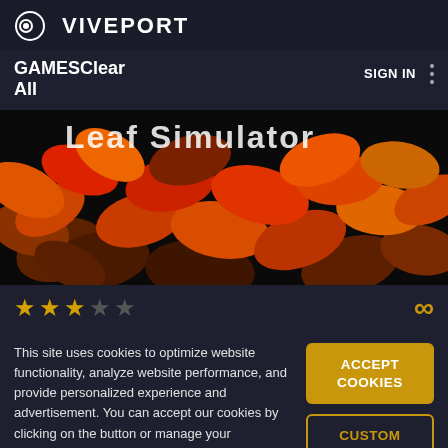VIVEPORT
GAMESClear All
SIGN IN
[Figure (photo): Autumn leaf simulator banner image showing colorful maple leaves on dark background with partial text 'Leaf Simulator' visible at top]
★★★☆☆ ∞
This site uses cookies to optimize website functionality, analyze website performance, and provide personalized experience and advertisement. You can accept our cookies by clicking on the button or manage your preference on "Cookie Preferences".
ACCEPT COOKIES
CUSTOM SETTINGS